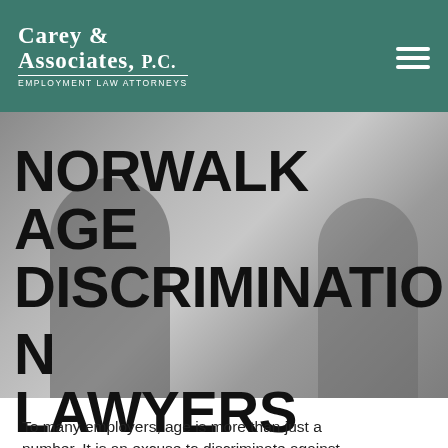Carey & Associates, P.C. Employment Law Attorneys
[Figure (photo): Grayscale photo of two people in professional attire, appearing to be in a meeting or consultation. One person is wearing glasses.]
NORWALK AGE DISCRIMINATION LAWYERS
To many employers, age is more than just a number. It is an excuse to discriminate against